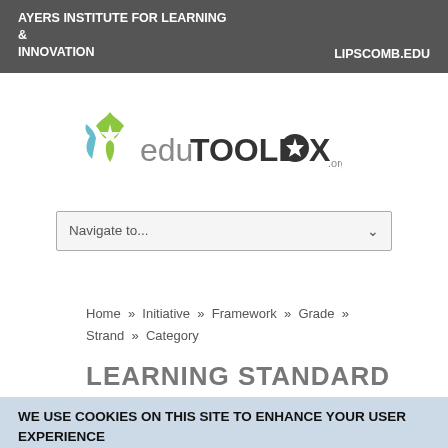AYERS INSTITUTE FOR LEARNING & INNOVATION
LIPSCOMB.EDU
[Figure (logo): eduTOOLBOX.org logo — a green and blue star-shaped figure on the left, with 'edu' in gray and 'TOOLBOX' in bold dark gray/black letters, with a star icon inside the 'O', and '.org' in small text at the right.]
Navigate to...
Home » Initiative » Framework » Grade » Strand » Category
WE USE COOKIES ON THIS SITE TO ENHANCE YOUR USER EXPERIENCE